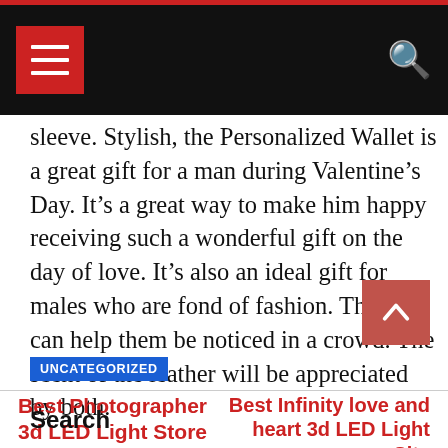Navigation bar with menu button and search icon
sleeve. Stylish, the Personalized Wallet is a great gift for a man during Valentine’s Day. It’s a great way to make him happy receiving such a wonderful gift on the day of love. It’s also an ideal gift for males who are fond of fashion. This bag can help them be noticed in a crowd. The scent of the leather will be appreciated by both.
UNCATEGORIZED
Best Photographer 3d LED Light Store
Best Infinity love and heart 3d LED Light Site
Search